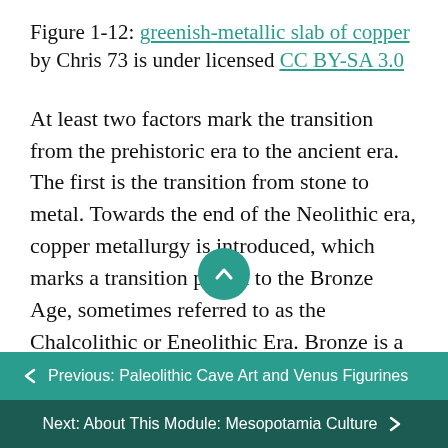Figure 1-12: greenish-metallic slab of copper by Chris 73 is under licensed CC BY-SA 3.0
At least two factors mark the transition from the prehistoric era to the ancient era. The first is the transition from stone to metal. Towards the end of the Neolithic era, copper metallurgy is introduced, which marks a transition period to the Bronze Age, sometimes referred to as the Chalcolithic or Eneolithic Era. Bronze is a mixture of copper and tin, which has greater hardness than copper, better casting properties, and a lower melting point. Bronze could be used for making weapons, something
← Previous: Paleolithic Cave Art and Venus Figurines
Next: About This Module: Mesopotamia Culture →